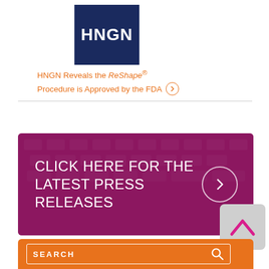[Figure (logo): HNGN logo — white bold text on dark navy blue square background]
HNGN Reveals the ReShape® Procedure is Approved by the FDA ›
[Figure (infographic): Purple/magenta banner with keyboard background and text: CLICK HERE FOR THE LATEST PRESS RELEASES with circle arrow icon]
[Figure (other): Light grey scroll-to-top button with magenta upward chevron icon]
[Figure (other): Orange section with SEARCH box and search icon]